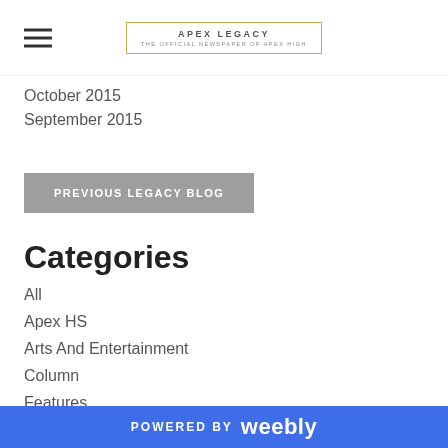APEX LEGACY
October 2015
September 2015
PREVIOUS LEGACY BLOG
Categories
All
Apex HS
Arts And Entertainment
Column
Features
Homecoming
News
New Teachers
Politics
POWERED BY weebly